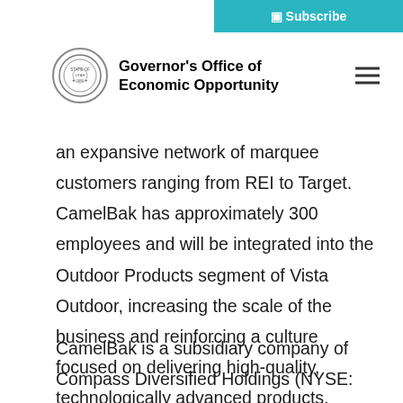Subscribe
Governor's Office of Economic Opportunity
an expansive network of marquee customers ranging from REI to Target. CamelBak has approximately 300 employees and will be integrated into the Outdoor Products segment of Vista Outdoor, increasing the scale of the business and reinforcing a culture focused on delivering high-quality, technologically advanced products.
CamelBak is a subsidiary company of Compass Diversified Holdings (NYSE: CODI), an owner of